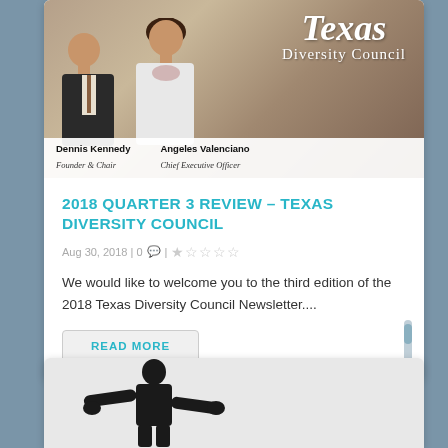[Figure (photo): Texas Diversity Council header image with two professionals (man in suit and woman in white jacket) and 'Texas Diversity Council' branding text. Name labels below: Dennis Kennedy, Founder & Chair; Angeles Valenciano, Chief Executive Officer.]
2018 QUARTER 3 REVIEW – TEXAS DIVERSITY COUNCIL
Aug 30, 2018 | 0 💬 | ★☆☆☆☆
We would like to welcome you to the third edition of the 2018 Texas Diversity Council Newsletter....
READ MORE
[Figure (photo): Partial view of a person (speaker/presenter silhouette) with arms outstretched against white background, bottom of page.]